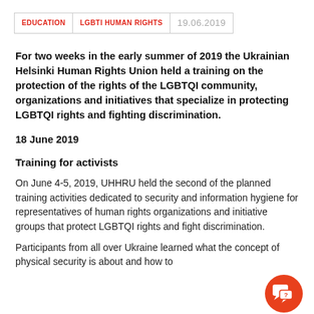EDUCATION | LGBTI HUMAN RIGHTS | 19.06.2019
For two weeks in the early summer of 2019 the Ukrainian Helsinki Human Rights Union held a training on the protection of the rights of the LGBTQI community, organizations and initiatives that specialize in protecting LGBTQI rights and fighting discrimination.
18 June 2019
Training for activists
On June 4-5, 2019, UHHRU held the second of the planned training activities dedicated to security and information hygiene for representatives of human rights organizations and initiative groups that protect LGBTQI rights and fight discrimination.
Participants from all over Ukraine learned what the concept of physical security is about and how to